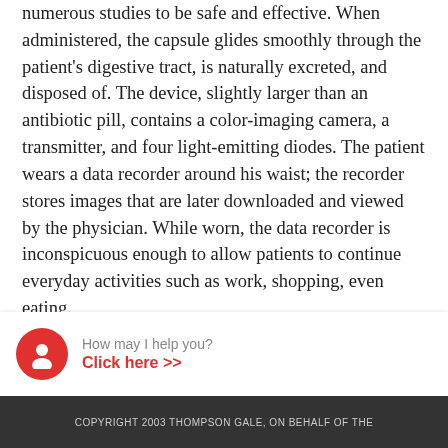numerous studies to be safe and effective. When administered, the capsule glides smoothly through the patient's digestive tract, is naturally excreted, and disposed of. The device, slightly larger than an antibiotic pill, contains a color-imaging camera, a transmitter, and four light-emitting diodes. The patient wears a data recorder around his waist; the recorder stores images that are later downloaded and viewed by the physician. While worn, the data recorder is inconspicuous enough to allow patients to continue everyday activities such as work, shopping, even eating.
Patients with severe small intestinal bleeding are often hospitalized and may require a blood transfusion. In order to determine the source of the bleeding, patients are commonly given a standard endoscopy and colonoscopy but these procedures will not reveal bleeding in the small
[Figure (other): Chat widget overlay showing a red circular avatar with a person icon, the text 'How may I help you?' in grey, and 'Click here >>' in red below it.]
COPYRIGHT 2003 THOMPSON GALE, ON BEHALF OF THE